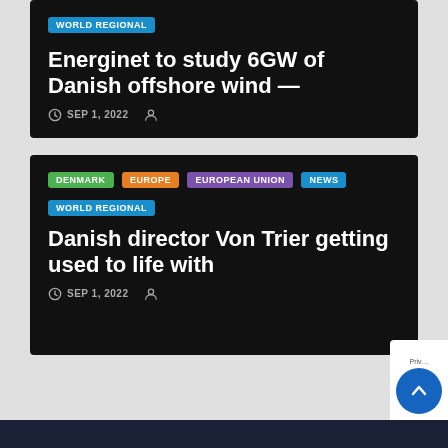WORLD REGIONAL
Energinet to study 6GW of Danish offshore wind —
SEP 1, 2022
DENMARK  EUROPE  EUROPEAN UNION  NEWS  WORLD REGIONAL
Danish director Von Trier getting used to life with
SEP 1, 2022